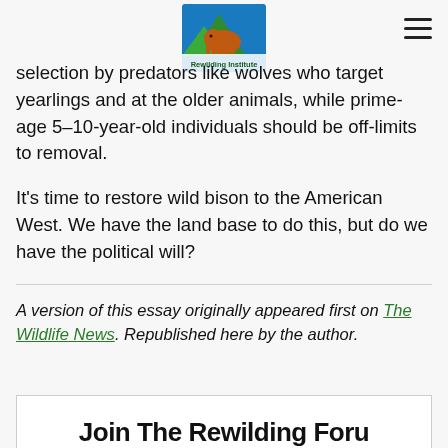[Figure (logo): Rewilding Institute logo — green/blue mountain triangle badge with animal silhouette and text 'Rewilding Institute']
selection by predators like wolves who target yearlings and at the older animals, while prime-age 5–10-year-old individuals should be off-limits to removal.
It's time to restore wild bison to the American West. We have the land base to do this, but do we have the political will?
A version of this essay originally appeared first on The Wildlife News. Republished here by the author.
Join The Rewilding Foru...